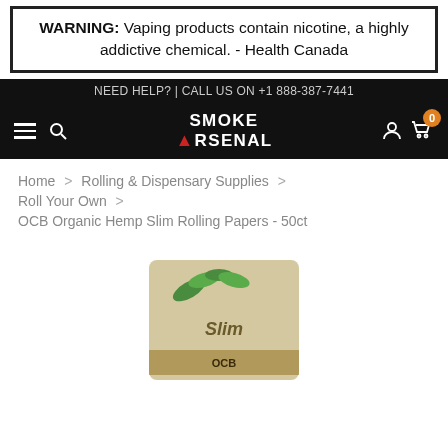WARNING: Vaping products contain nicotine, a highly addictive chemical. - Health Canada
NEED HELP? | CALL US ON +1 888-387-7441
[Figure (logo): Smoke Arsenal logo with hamburger menu, search icon, user icon, and cart icon showing 0 items]
Home > Rolling & Dispensary Supplies > Roll Your Own > OCB Organic Hemp Slim Rolling Papers - 50ct
[Figure (photo): OCB Organic Hemp Slim Rolling Papers product package showing tan/beige packaging with green leaf design and 'Slim' text]